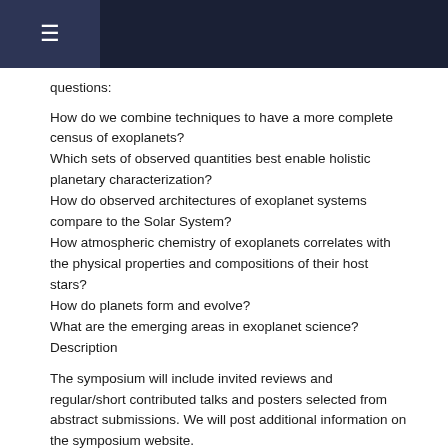☰
questions:
How do we combine techniques to have a more complete census of exoplanets?
Which sets of observed quantities best enable holistic planetary characterization?
How do observed architectures of exoplanet systems compare to the Solar System?
How atmospheric chemistry of exoplanets correlates with the physical properties and compositions of their host stars?
How do planets form and evolve?
What are the emerging areas in exoplanet science?
Description
The symposium will include invited reviews and regular/short contributed talks and posters selected from abstract submissions. We will post additional information on the symposium website.